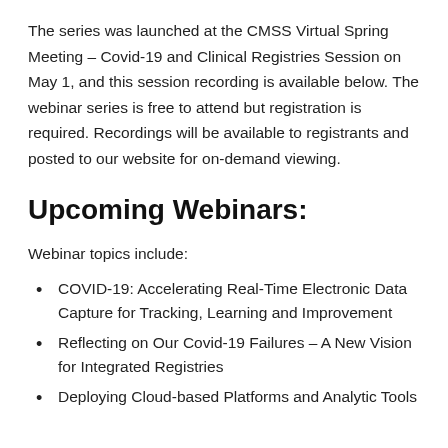The series was launched at the CMSS Virtual Spring Meeting – Covid-19 and Clinical Registries Session on May 1, and this session recording is available below. The webinar series is free to attend but registration is required. Recordings will be available to registrants and posted to our website for on-demand viewing.
Upcoming Webinars:
Webinar topics include:
COVID-19: Accelerating Real-Time Electronic Data Capture for Tracking, Learning and Improvement
Reflecting on Our Covid-19 Failures – A New Vision for Integrated Registries
Deploying Cloud-based Platforms and Analytic Tools